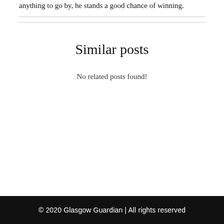anything to go by, he stands a good chance of winning.
Similar posts
No related posts found!
© 2020 Glasgow Guardian | All rights reserved